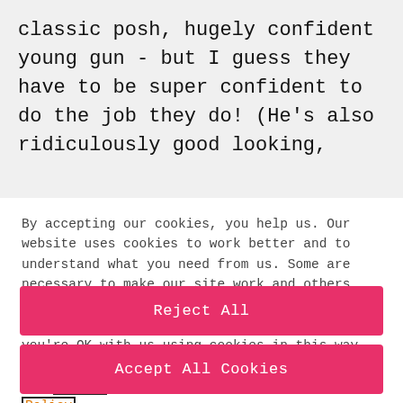classic posh, hugely confident young gun - but I guess they have to be super confident to do the job they do! (He's also ridiculously good looking,
By accepting our cookies, you help us. Our website uses cookies to work better and to understand what you need from us. Some are necessary to make our site work and others are optional. Cookies stored on your device and are placed by us and trusted partners. If you're OK with us using cookies in this way, please accept the recommended settings. View our Cookie Policy
Manage My Settings
Reject All
Accept All Cookies